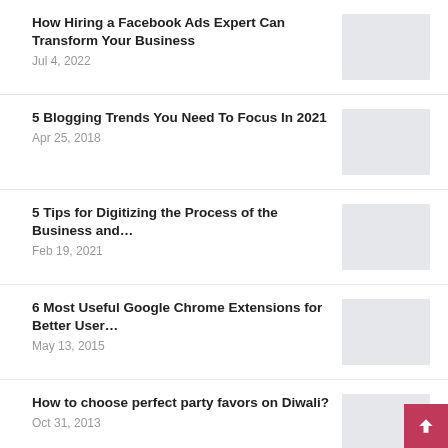How Hiring a Facebook Ads Expert Can Transform Your Business
Jul 4, 2022
5 Blogging Trends You Need To Focus In 2021
Apr 25, 2018
5 Tips for Digitizing the Process of the Business and…
Feb 19, 2021
6 Most Useful Google Chrome Extensions for Better User…
May 13, 2015
How to choose perfect party favors on Diwali?
Oct 31, 2013
What are the Types of Printing Techniques | Exclusive Guide...